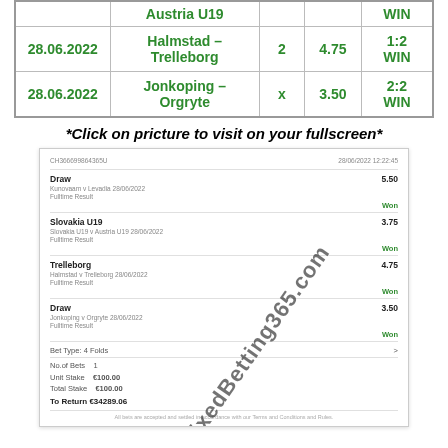| Date | Match | Pick | Odds | Result |
| --- | --- | --- | --- | --- |
|  | Austria U19 |  |  | WIN |
| 28.06.2022 | Halmstad – Trelleborg | 2 | 4.75 | 1:2 WIN |
| 28.06.2022 | Jonkoping – Orgryte | x | 3.50 | 2:2 WIN |
*Click on pricture to visit on your fullscreen*
[Figure (screenshot): Betting slip screenshot showing 4-fold accumulator bet with Draw (5.50, Won), Slovakia U19 (3.75, Won), Trelleborg (4.75, Won), Draw (3.50, Won). Bet Type: 4 Folds. No.of Bets: 1. Unit Stake: €100.00. Total Stake: €100.00. To Return €34289.06. Watermark: www.FixedBetting365.com]